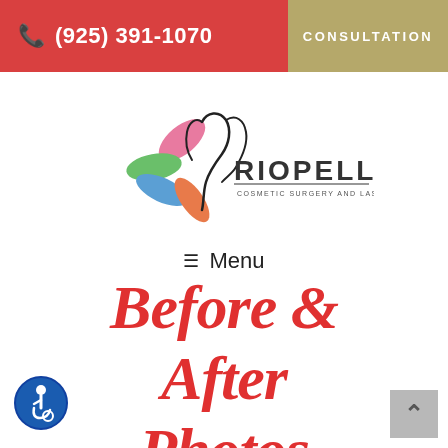(925) 391-1070  CONSULTATION
[Figure (logo): Riopelle Cosmetic Surgery and Laser Center logo with stylized woman silhouette and colorful petals]
≡ Menu
Before & After Photos